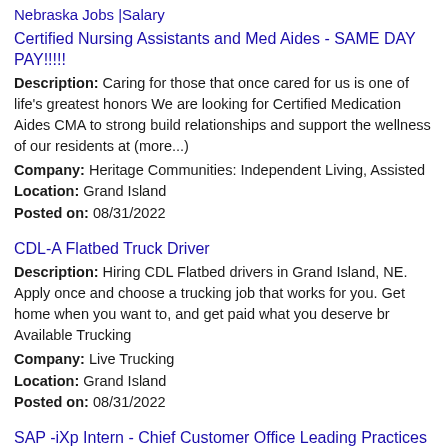Nebraska Jobs |Salary
Certified Nursing Assistants and Med Aides - SAME DAY PAY!!!!!
Description: Caring for those that once cared for us is one of life's greatest honors We are looking for Certified Medication Aides CMA to strong build relationships and support the wellness of our residents at (more...)
Company: Heritage Communities: Independent Living, Assisted
Location: Grand Island
Posted on: 08/31/2022
CDL-A Flatbed Truck Driver
Description: Hiring CDL Flatbed drivers in Grand Island, NE. Apply once and choose a trucking job that works for you. Get home when you want to, and get paid what you deserve br Available Trucking
Company: Live Trucking
Location: Grand Island
Posted on: 08/31/2022
SAP -iXp Intern - Chief Customer Office Leading Practices Project
Description: WE HELP THE WORLD RUN BETTER br Our company